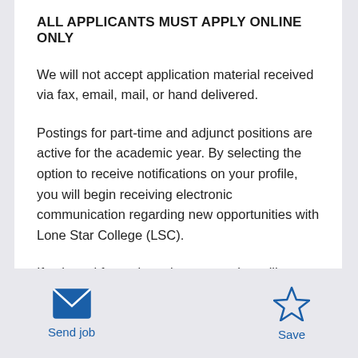ALL APPLICANTS MUST APPLY ONLINE ONLY
We will not accept application material received via fax, email, mail, or hand delivered.
Postings for part-time and adjunct positions are active for the academic year. By selecting the option to receive notifications on your profile, you will begin receiving electronic communication regarding new opportunities with Lone Star College (LSC).
If selected for an interview, a recruiter will contact you
[Figure (illustration): Send job icon (envelope) with label 'Send job' and Save icon (star outline) with label 'Save']